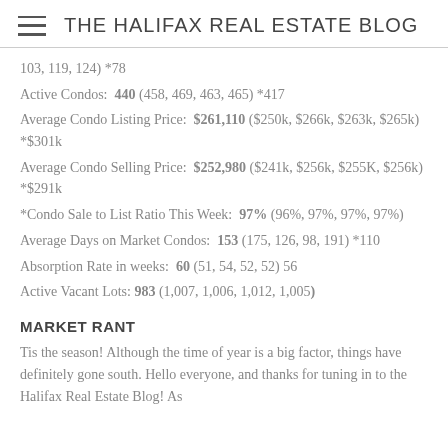THE HALIFAX REAL ESTATE BLOG
103, 119, 124) *78
Active Condos:  440 (458, 469, 463, 465) *417
Average Condo Listing Price:  $261,110 ($250k, $266k, $263k, $265k) *$301k
Average Condo Selling Price:  $252,980 ($241k, $256k, $255K, $256k) *$291k
*Condo Sale to List Ratio This Week:  97% (96%, 97%, 97%, 97%)
Average Days on Market Condos:  153 (175, 126, 98, 191) *110
Absorption Rate in weeks:  60 (51, 54, 52, 52) 56
Active Vacant Lots: 983 (1,007, 1,006, 1,012, 1,005)
MARKET RANT
Tis the season! Although the time of year is a big factor, things have definitely gone south. Hello everyone, and thanks for tuning in to the Halifax Real Estate Blog! As